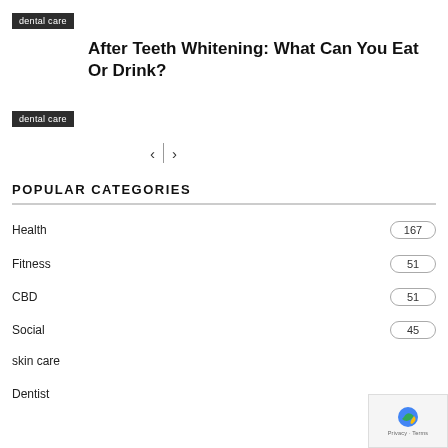dental care
After Teeth Whitening: What Can You Eat Or Drink?
dental care
POPULAR CATEGORIES
Health  167
Fitness  51
CBD  51
Social  45
skin care
Dentist